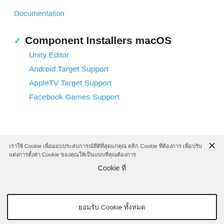Documentation
Component Installers macOS
Unity Editor
Android Target Support
AppleTV Target Support
Facebook Games Support
เราใช้ Cookie เพื่อมอบประสบการณ์ที่ดีที่สุดแก่คุณ คลิก Cookie ที่ต้องการ เพื่อปรับแต่งการตั้งค่า Cookie ของคุณให้เป็นแบบที่คุณต้องการ
Cookie ที่
ยอมรับ Cookie ทั้งหมด